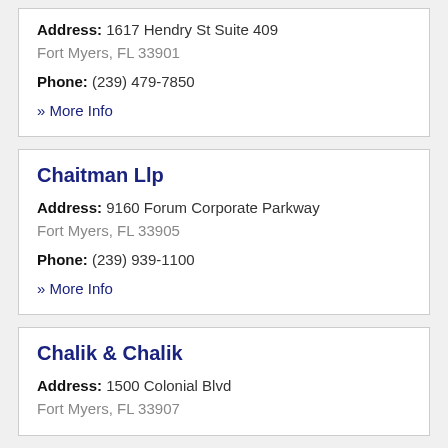Address: 1617 Hendry St Suite 409
Fort Myers, FL 33901
Phone: (239) 479-7850
» More Info
Chaitman Llp
Address: 9160 Forum Corporate Parkway
Fort Myers, FL 33905
Phone: (239) 939-1100
» More Info
Chalik & Chalik
Address: 1500 Colonial Blvd
Fort Myers, FL 33907